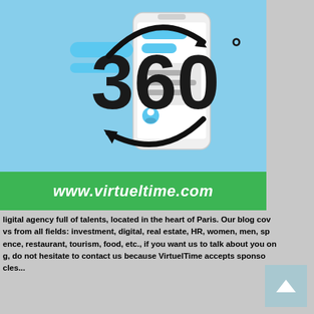[Figure (illustration): 360 degree digital illustration showing a smartphone with chat bubbles and UI elements, with a circular arrow around it showing 360 degrees, on a light blue background with a green banner showing www.virtueltime.com]
digital agency full of talents, located in the heart of Paris. Our blog covers news from all fields: investment, digital, real estate, HR, women, men, sport, science, restaurant, tourism, food, etc., if you want us to talk about you on our blog, do not hesitate to contact us because VirtuelTime accepts sponsored articles...